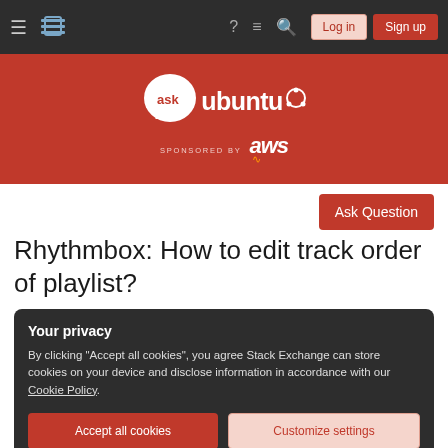Ask Ubuntu navigation bar with Log in and Sign up buttons
[Figure (logo): Ask Ubuntu logo with 'ask' in speech bubble and 'ubuntu' text with Ubuntu circle logo, sponsored by AWS]
Ask Question
Rhythmbox: How to edit track order of playlist?
Your privacy
By clicking "Accept all cookies", you agree Stack Exchange can store cookies on your device and disclose information in accordance with our Cookie Policy.
Accept all cookies
Customize settings
playlist I've created in Rhythmbox 3.02?